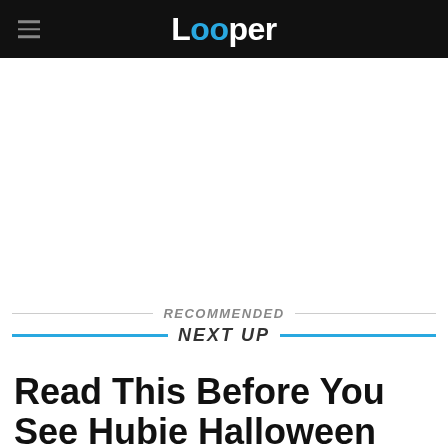Looper
RECOMMENDED
NEXT UP
Read This Before You See Hubie Halloween